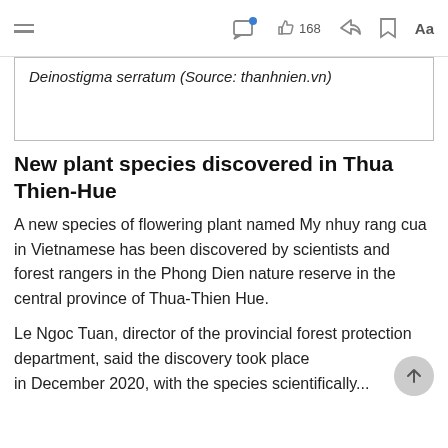168
Deinostigma serratum (Source: thanhnien.vn)
New plant species discovered in Thua Thien-Hue
A new species of flowering plant named My nhuy rang cua in Vietnamese has been discovered by scientists and forest rangers in the Phong Dien nature reserve in the central province of Thua-Thien Hue.
Le Ngoc Tuan, director of the provincial forest protection department, said the discovery took place in December 2020, with the species scientifically...